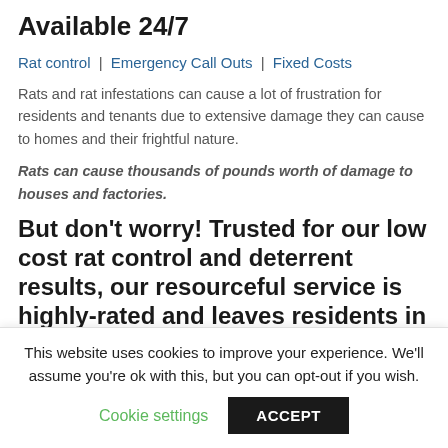Available 24/7
Rat control | Emergency Call Outs | Fixed Costs
Rats and rat infestations can cause a lot of frustration for residents and tenants due to extensive damage they can cause to homes and their frightful nature.
Rats can cause thousands of pounds worth of damage to houses and factories.
But don't worry! Trusted for our low cost rat control and deterrent results, our resourceful service is highly-rated and leaves residents in St Albans, Highfield and
This website uses cookies to improve your experience. We'll assume you're ok with this, but you can opt-out if you wish. Cookie settings ACCEPT